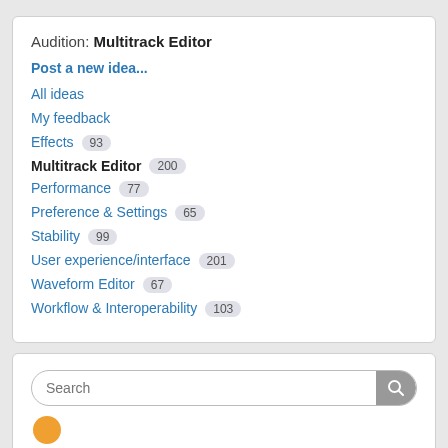Audition: Multitrack Editor
Post a new idea...
All ideas
My feedback
Effects  93
Multitrack Editor  200
Performance  77
Preference & Settings  65
Stability  99
User experience/interface  201
Waveform Editor  67
Workflow & Interoperability  103
Search